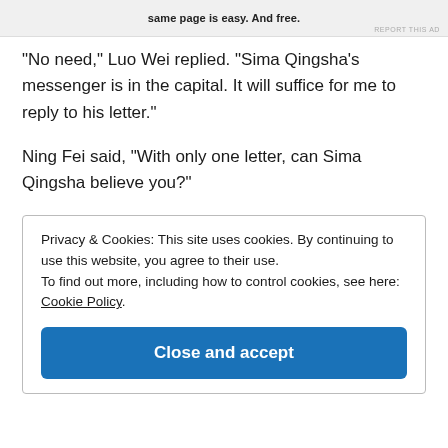[Figure (screenshot): Partial ad banner at top with bold text 'same page is easy. And free.' and 'REPORT THIS AD' label]
“No need,” Luo Wei replied. “Sima Qingsha’s messenger is in the capital. It will suffice for me to reply to his letter.”
Ning Fei said, “With only one letter, can Sima Qingsha believe you?”
Privacy & Cookies: This site uses cookies. By continuing to use this website, you agree to their use.
To find out more, including how to control cookies, see here: Cookie Policy
Close and accept